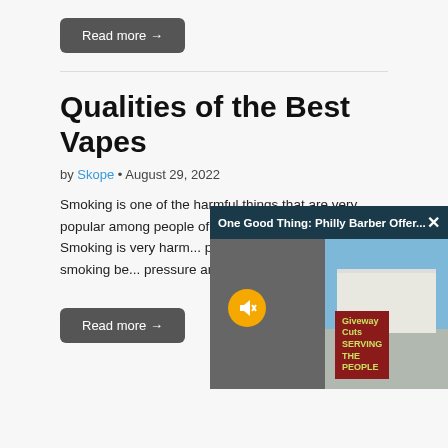Read more →
Qualities of the Best Vapes
by Skope • August 29, 2022
Smoking is one of the harmful things that are very popular among people of young and also old age. Smoking is very harm... parts of our body, e... people, smoking be... pressure and sever... people are...
Read more →
[Figure (screenshot): Video popup overlay titled 'One Good Thing: Philly Barber Offer...' showing a split video frame with a mute button and outdoor scene with tent and people, including a sign reading 'Giveway Cuts Serving The People']